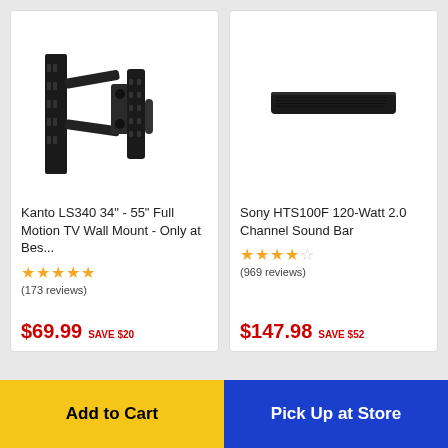[Figure (photo): Kanto LS340 full motion TV wall mount bracket, black metal, articulating arm]
Kanto LS340 34" - 55" Full Motion TV Wall Mount - Only at Bes...
★★★★★ (173 reviews)
$69.99 SAVE $20
[Figure (photo): Sony HTS100F soundbar, slim black bar]
Sony HTS100F 120-Watt 2.0 Channel Sound Bar
★★★★☆ (969 reviews)
$147.98 SAVE $52
Add to Cart
Pick Up at Store